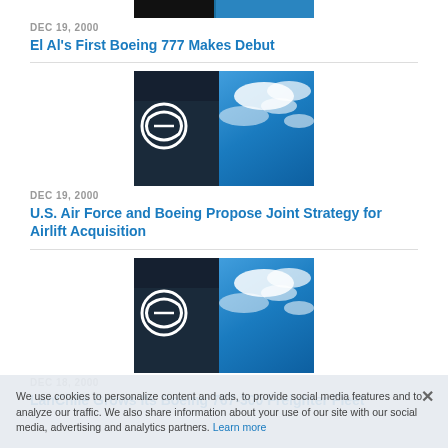[Figure (photo): Partial top strip image of an aircraft]
DEC 19, 2000
El Al's First Boeing 777 Makes Debut
[Figure (photo): Boeing headquarters building with logo against blue sky with clouds]
DEC 19, 2000
U.S. Air Force and Boeing Propose Joint Strategy for Airlift Acquisition
[Figure (photo): Boeing headquarters building with logo against blue sky with clouds]
DEC 18, 2000
LanChile Grows Its Boeing 767-300 Freighter Fleet
We use cookies to personalize content and ads, to provide social media features and to analyze our traffic. We also share information about your use of our site with our social media, advertising and analytics partners. Learn more